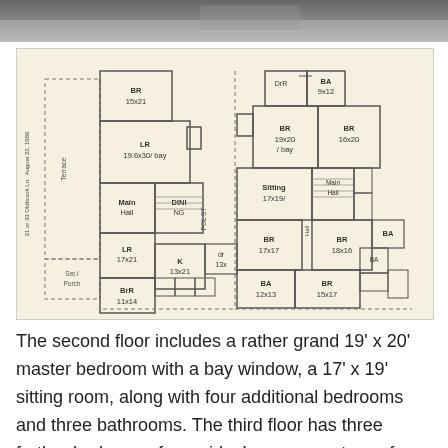[Figure (other): Partial photograph at top of page, showing a blurred/cropped interior or exterior scene in grayscale]
[Figure (engineering-diagram): Architectural floor plan of second and third floors of a large house. Left section shows: BR 15x21, LR 19.6x30/bay, Main Hall, DINING, Terrace, Ser./Porch, BrR 11x14, K 13x21, dr 13x, LR 17x21. Right section shows: DrR, BA 9x12, BR 19x20/bay, BR 16x20, Sitting 17x19, Main Hall, BR 17x17, BR 18x16, BA, BA 12x13, BR 15x17. Annotation reads: 31 or 33 Oldbrook Ln. August 22, 1969]
The second floor includes a rather grand 19' x 20' master bedroom with a bay window, a 17' x 19' sitting room, along with four additional bedrooms and three bathrooms. The third floor has three further bedrooms for maids. Images courtesy of: Grosse